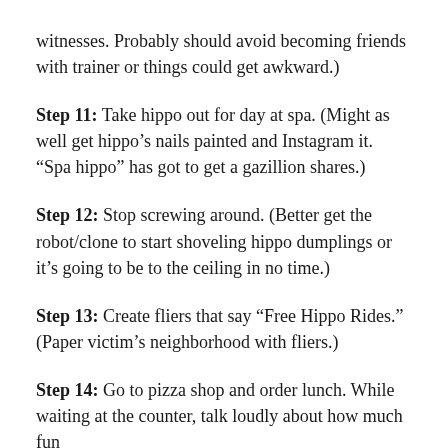witnesses. Probably should avoid becoming friends with trainer or things could get awkward.)
Step 11: Take hippo out for day at spa. (Might as well get hippo’s nails painted and Instagram it. “Spa hippo” has got to get a gazillion shares.)
Step 12: Stop screwing around. (Better get the robot/clone to start shoveling hippo dumplings or it’s going to be to the ceiling in no time.)
Step 13: Create fliers that say “Free Hippo Rides.” (Paper victim’s neighborhood with fliers.)
Step 14: Go to pizza shop and order lunch. While waiting at the counter, talk loudly about how much fun